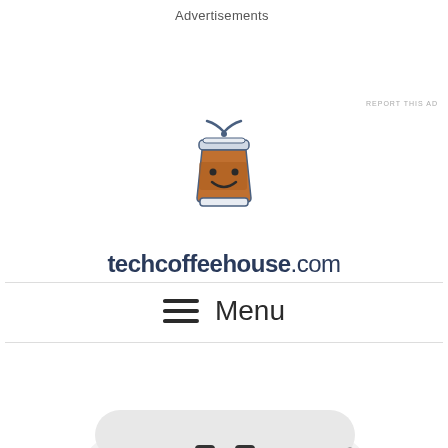Advertisements
REPORT THIS AD
[Figure (logo): techcoffeehouse.com logo: a cute cartoon coffee cup with wifi signal on top and the text 'techcoffeehouse.com' below]
☰ Menu
[Figure (photo): White Google Stadia game controller with black analog sticks and buttons with orange accents, photographed from above on white background]